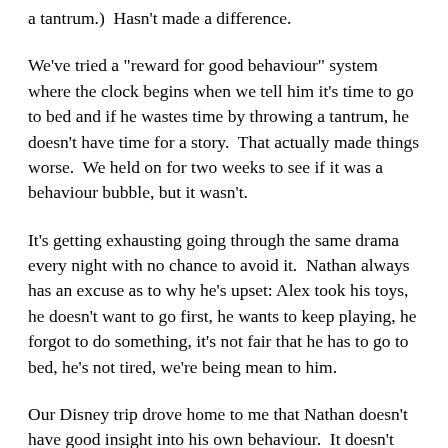a tantrum.)  Hasn't made a difference.
We've tried a "reward for good behaviour" system where the clock begins when we tell him it's time to go to bed and if he wastes time by throwing a tantrum, he doesn't have time for a story.  That actually made things worse.  We held on for two weeks to see if it was a behaviour bubble, but it wasn't.
It's getting exhausting going through the same drama every night with no chance to avoid it.  Nathan always has an excuse as to why he's upset: Alex took his toys, he doesn't want to go first, he wants to keep playing, he forgot to do something, it's not fair that he has to go to bed, he's not tired, we're being mean to him.
Our Disney trip drove home to me that Nathan doesn't have good insight into his own behaviour.  It doesn't matter how much warning he's got, once he gets upset, all bets are off.  Which means we need to avoid him becoming upset but since the problem appears to be that we need him to go to bed, I don't think we can.
I'm trying to help him become more aware of his feelings and the impact of his actions on others.  I want him to be able to realize